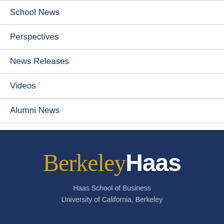School News
Perspectives
News Releases
Videos
Alumni News
[Figure (logo): Berkeley Haas logo — 'Berkeley' in gold serif font, 'Haas' in white bold sans-serif font, on a dark navy background]
Haas School of Business
University of California, Berkeley